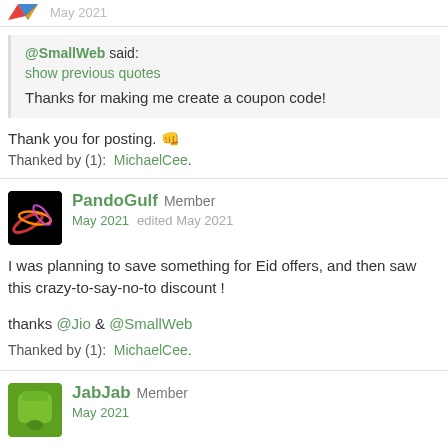May 2021
@SmallWeb said:
show previous quotes
Thanks for making me create a coupon code!
Thank you for posting. 👊
Thanked by (1): MichaelCee.
PandoGulf Member
May 2021  edited May 2021
I was planning to save something for Eid offers, and then saw this crazy-to-say-no-to discount !
thanks @Jio & @SmallWeb
Thanked by (1): MichaelCee.
JabJab Member
May 2021
Downvoting due to FAQ posted as image! 😕